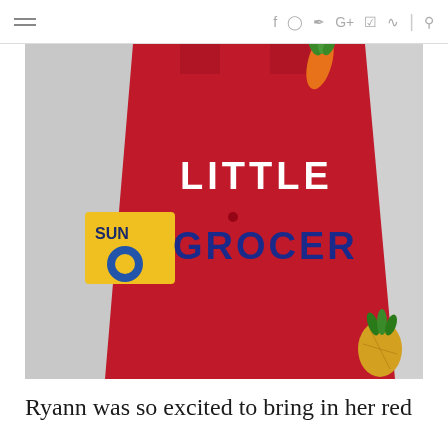☰  f  Instagram  Twitter  G+  Pinterest  RSS  |  Search
[Figure (photo): Close-up photo of a child wearing a red apron that reads 'LITTLE GROCER' in white and blue letters, with a carrot decoration at the top. A yellow 'Sun' label is visible in the background.]
Ryann was so excited to bring in her red